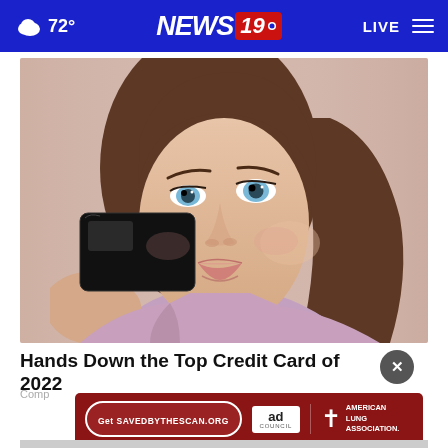72° NEWS19 LIVE
[Figure (photo): Young woman with brown hair holding up a black credit card, looking at camera, wearing a pink knit sweater, against a light pink background]
Hands Down the Top Credit Card of 2022
Comp
[Figure (infographic): American Lung Association ad banner with red background, Get SAVEDBYTHESCAN.ORG button, Ad Council logo, and American Lung Association logo]